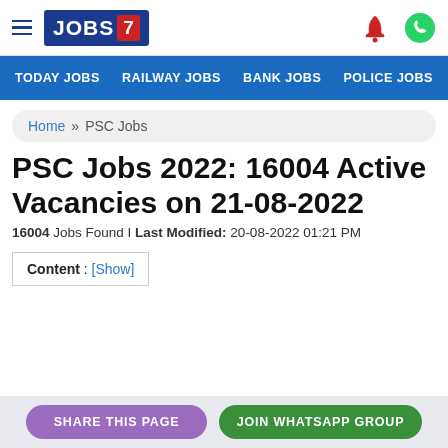JOBS 7 — Today Jobs | Railway Jobs | Bank Jobs | Police Jobs
Home » PSC Jobs
PSC Jobs 2022: 16004 Active Vacancies on 21-08-2022
16004 Jobs Found | Last Modified: 20-08-2022 01:21 PM
Content : [Show]
SHARE THIS PAGE | JOIN WHATSAPP GROUP